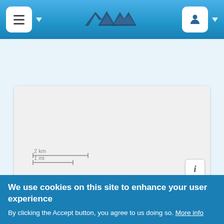[Figure (screenshot): Website navigation bar with hamburger menu icon (white rounded square button with dropdown arrow), mountain logo (ADM style), and user account icon (white rounded square button with person silhouette and dropdown arrow) on blue gradient background]
[Figure (map): Map area showing white background with scale bar indicating 2 km / 1 mi, and an info button in the bottom right corner]
[Figure (other): White advertisement or content card area, empty]
Nearby places
We use cookies on this site to enhance your user experience
By clicking the Accept button, you agree to us doing so. More info